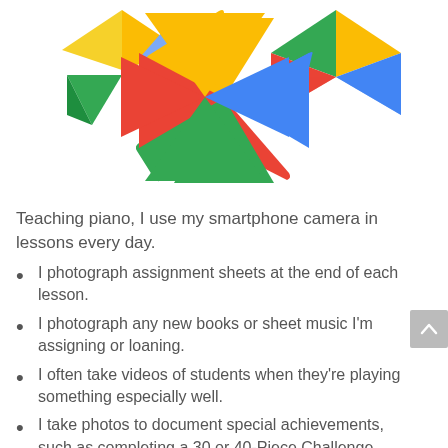[Figure (logo): Google Photos colorful pinwheel/flower logo made of triangular petals in yellow, red, green, blue, and teal]
Teaching piano, I use my smartphone camera in lessons every day.
I photograph assignment sheets at the end of each lesson.
I photograph any new books or sheet music I'm assigning or loaning.
I often take videos of students when they're playing something especially well.
I take photos to document special achievements, such as completing a 30 or 40-Piece Challenge.